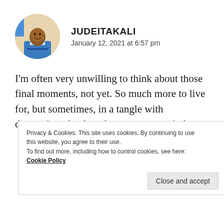[Figure (photo): Circular avatar photo of a man in a blue shirt sitting with a laptop, smiling]
JUDEITAKALI
January 12, 2021 at 6:57 pm
I'm often very unwilling to think about those final moments, not yet. So much more to live for, but sometimes, in a tangle with depression, the thought crosses my mind.
Privacy & Cookies: This site uses cookies. By continuing to use this website, you agree to their use.
To find out more, including how to control cookies, see here: Cookie Policy
Close and accept